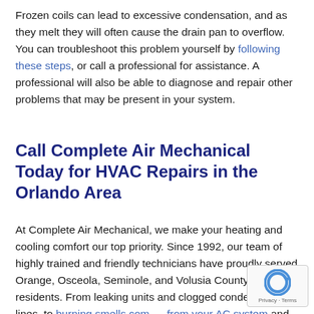Frozen coils can lead to excessive condensation, and as they melt they will often cause the drain pan to overflow. You can troubleshoot this problem yourself by following these steps, or call a professional for assistance. A professional will also be able to diagnose and repair other problems that may be present in your system.
Call Complete Air Mechanical Today for HVAC Repairs in the Orlando Area
At Complete Air Mechanical, we make your heating and cooling comfort our top priority. Since 1992, our team of highly trained and friendly technicians have proudly served Orange, Osceola, Seminole, and Volusia County residents. From leaking units and clogged condensate lines, to burning smells coming from your AC system and room temperature
[Figure (other): reCAPTCHA Privacy-Terms badge in bottom-right corner]